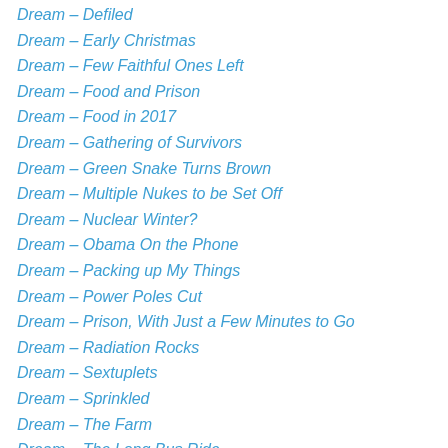Dream – Defiled
Dream – Early Christmas
Dream – Few Faithful Ones Left
Dream – Food and Prison
Dream – Food in 2017
Dream – Gathering of Survivors
Dream – Green Snake Turns Brown
Dream – Multiple Nukes to be Set Off
Dream – Nuclear Winter?
Dream – Obama On the Phone
Dream – Packing up My Things
Dream – Power Poles Cut
Dream – Prison, With Just a Few Minutes to Go
Dream – Radiation Rocks
Dream – Sextuplets
Dream – Sprinkled
Dream – The Farm
Dream – The Long Bus Ride
Dream – Time for Round up
Dream – Time Is Up